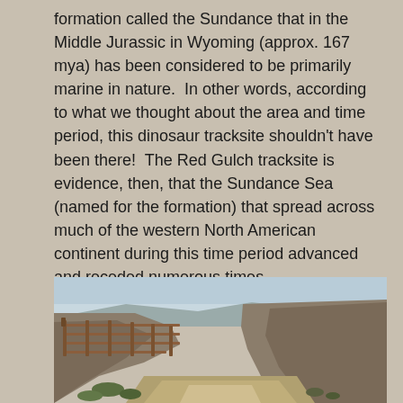formation called the Sundance that in the Middle Jurassic in Wyoming (approx. 167 mya) has been considered to be primarily marine in nature.  In other words, according to what we thought about the area and time period, this dinosaur tracksite shouldn't have been there!  The Red Gulch tracksite is evidence, then, that the Sundance Sea (named for the formation) that spread across much of the western North American continent during this time period advanced and receded numerous times.
[Figure (photo): Outdoor photograph showing a narrow dirt path or gulch between two earthen/rocky hillsides. A metal fence or railing structure is visible on the left side. Scrubby vegetation is visible at the base of the slopes. Sky is visible in the background.]